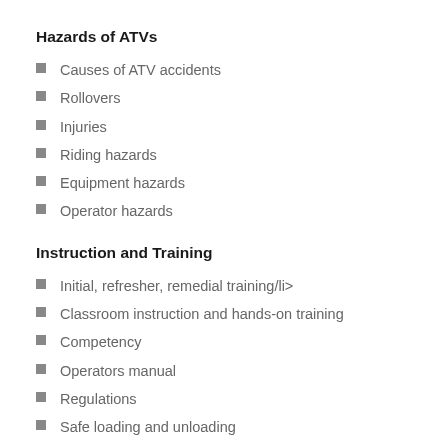Hazards of ATVs
Causes of ATV accidents
Rollovers
Injuries
Riding hazards
Equipment hazards
Operator hazards
Instruction and Training
Initial, refresher, remedial training/li>
Classroom instruction and hands-on training
Competency
Operators manual
Regulations
Safe loading and unloading